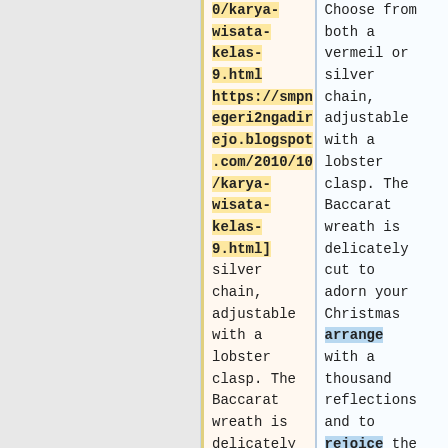0/karya-wisata-kelas-9.html https://smpnegeri2ngadrejo.blogspot.com/2010/10/karya-wisata-kelas-9.html]
silver chain, adjustable with a lobster clasp. The Baccarat wreath is delicately cut to
Choose from both a vermeil or silver chain, adjustable with a lobster clasp. The Baccarat wreath is delicately cut to adorn your Christmas arrange with a thousand reflections and to rejoice the end-of-year